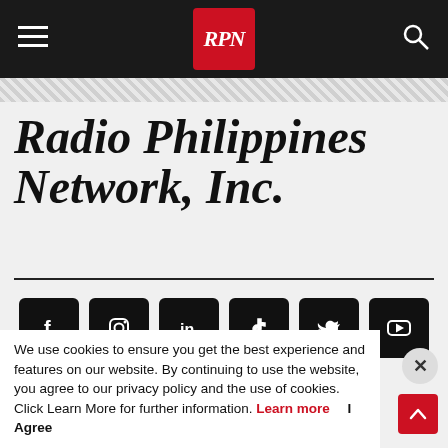RPN - Radio Philippines Network, Inc.
Radio Philippines Network, Inc.
[Figure (logo): Social media icons row: Facebook, Instagram, LinkedIn, TikTok, Twitter/X, YouTube]
About Us   Privacy Statement   Contact us
© 2023 Radio Philippines Network Inc. All Rights Reserved.
We use cookies to ensure you get the best experience and features on our website. By continuing to use the website, you agree to our privacy policy and the use of cookies. Click Learn More for further information. Learn more   I Agree